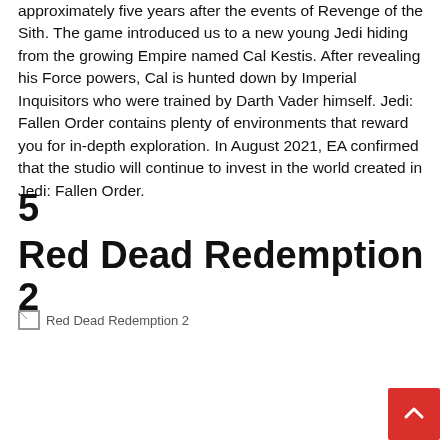approximately five years after the events of Revenge of the Sith. The game introduced us to a new young Jedi hiding from the growing Empire named Cal Kestis. After revealing his Force powers, Cal is hunted down by Imperial Inquisitors who were trained by Darth Vader himself. Jedi: Fallen Order contains plenty of environments that reward you for in-depth exploration. In August 2021, EA confirmed that the studio will continue to invest in the world created in Jedi: Fallen Order.
5
Red Dead Redemption 2
[Figure (photo): Broken image placeholder for Red Dead Redemption 2]